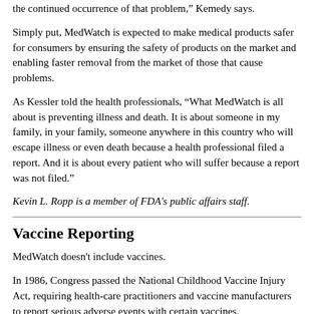the continued occurrence of that problem," Kemedy says.
Simply put, MedWatch is expected to make medical products safer for consumers by ensuring the safety of products on the market and enabling faster removal from the market of those that cause problems.
As Kessler told the health professionals, "What MedWatch is all about is preventing illness and death. It is about someone in my family, in your family, someone anywhere in this country who will escape illness or even death because a health professional filed a report. And it is about every patient who will suffer because a report was not filed."
Kevin L. Ropp is a member of FDA's public affairs staff.
Vaccine Reporting
MedWatch doesn't include vaccines.
In 1986, Congress passed the National Childhood Vaccine Injury Act, requiring health-care practitioners and vaccine manufacturers to report serious adverse events with certain vaccines.
The Vaccine Adverse Event Reporting System (VAERS) b...